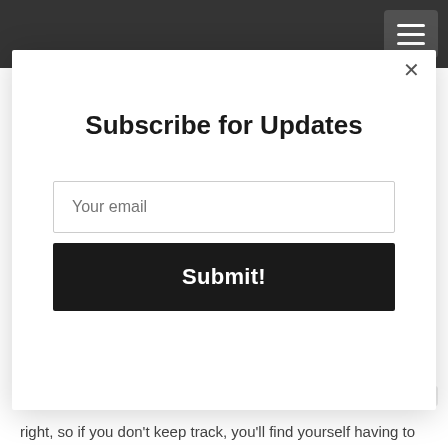[Navigation bar with hamburger menu]
calls.
When you've done, you simply pop back into their convenient
[Figure (screenshot): Modal popup overlay with 'Subscribe for Updates' heading, an email input field with placeholder 'Your email', and a dark 'Submit!' button. An × close button appears in the top-right corner of the modal.]
right, so if you don't keep track, you'll find yourself having to